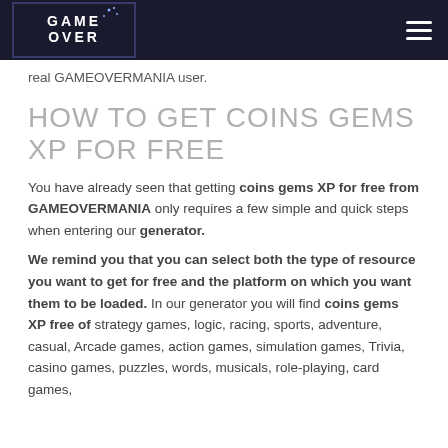GAME OVER [logo] [hamburger menu]
real GAMEOVERMANIA user.
HOW TO GET COINS GEMS XP FOR FREE
You have already seen that getting coins gems XP for free from GAMEOVERMANIA only requires a few simple and quick steps when entering our generator.
We remind you that you can select both the type of resource you want to get for free and the platform on which you want them to be loaded. In our generator you will find coins gems XP free of strategy games, logic, racing, sports, adventure, casual, Arcade games, action games, simulation games, Trivia, casino games, puzzles, words, musicals, role-playing, card games,